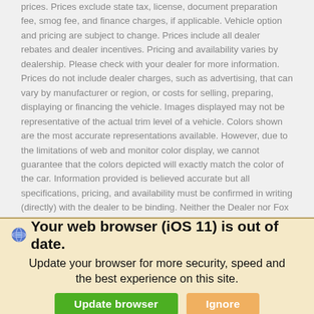prices. Prices exclude state tax, license, document preparation fee, smog fee, and finance charges, if applicable. Vehicle option and pricing are subject to change. Prices include all dealer rebates and dealer incentives. Pricing and availability varies by dealership. Please check with your dealer for more information. Prices do not include dealer charges, such as advertising, that can vary by manufacturer or region, or costs for selling, preparing, displaying or financing the vehicle. Images displayed may not be representative of the actual trim level of a vehicle. Colors shown are the most accurate representations available. However, due to the limitations of web and monitor color display, we cannot guarantee that the colors depicted will exactly match the color of the car. Information provided is believed accurate but all specifications, pricing, and availability must be confirmed in writing (directly) with the dealer to be binding. Neither the Dealer nor Fox Dealer Interactive is responsible for any inaccuracies contained herein and by using this application you the customer acknowledge the foregoing and accept such terms.
Your web browser (iOS 11) is out of date.
Update your browser for more security, speed and the best experience on this site.